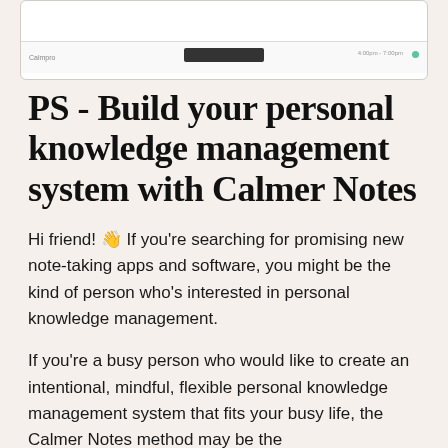[Figure (screenshot): Partial screenshot of an app interface with a dark bar and time indicator]
PS - Build your personal knowledge management system with Calmer Notes
Hi friend! 👋 If you're searching for promising new note-taking apps and software, you might be the kind of person who's interested in personal knowledge management.
If you're a busy person who would like to create an intentional, mindful, flexible personal knowledge management system that fits your busy life, the Calmer Notes method may be the